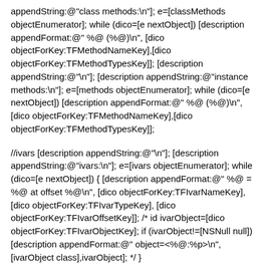appendString:@"class methods:\n"]; e=[classMethods objectEnumerator]; while (dico=[e nextObject]) [description appendFormat:@" %@ (%@)\n", [dico objectForKey:TFMethodNameKey],[dico objectForKey:TFMethodTypesKey]]; [description appendString:@"\n"]; [description appendString:@"instance methods:\n"]; e=[methods objectEnumerator]; while (dico=[e nextObject]) [description appendFormat:@" %@ (%@)\n", [dico objectForKey:TFMethodNameKey],[dico objectForKey:TFMethodTypesKey]];
//ivars [description appendString:@"\n"]; [description appendString:@"ivars:\n"]; e=[ivars objectEnumerator]; while (dico=[e nextObject]) { [description appendFormat:@" %@ = %@ at offset %@\n", [dico objectForKey:TFIvarNameKey], [dico objectForKey:TFIvarTypeKey], [dico objectForKey:TFIvarOffsetKey]]; /* id ivarObject=[dico objectForKey:TFIvarObjectKey]; if (ivarObject!=[NSNull null]) [description appendFormat:@" object=<%@:%p>\n", [ivarObject class],ivarObject]; */ }
[description appendString:@"\n\n"]; return [NSString stringWithString:description]; } @end